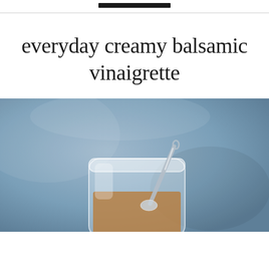everyday creamy balsamic vinaigrette
[Figure (photo): A glass jar with balsamic vinaigrette dressing and a metal spoon resting inside it, photographed on a blue-grey background]